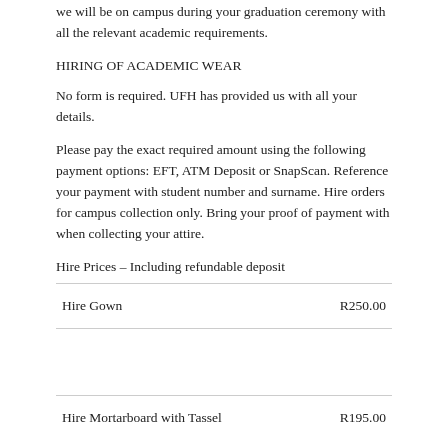… we will be on campus during your graduation ceremony with all the relevant academic requirements.
HIRING OF ACADEMIC WEAR
No form is required. UFH has provided us with all your details.
Please pay the exact required amount using the following payment options: EFT, ATM Deposit or SnapScan. Reference your payment with student number and surname. Hire orders for campus collection only. Bring your proof of payment with when collecting your attire.
Hire Prices – Including refundable deposit
| Item | Price |
| --- | --- |
| Hire Gown | R250.00 |
| Hire Mortarboard with Tassel | R195.00 |